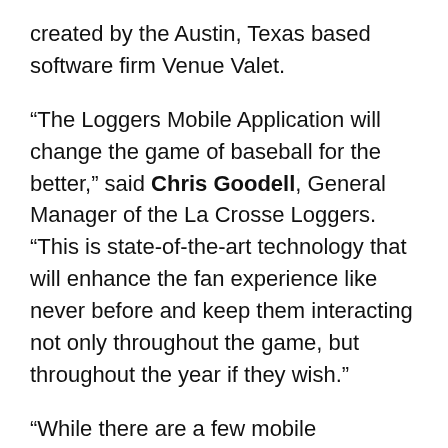created by the Austin, Texas based software firm Venue Valet.
“The Loggers Mobile Application will change the game of baseball for the better,” said Chris Goodell, General Manager of the La Crosse Loggers. “This is state-of-the-art technology that will enhance the fan experience like never before and keep them interacting not only throughout the game, but throughout the year if they wish.”
“While there are a few mobile applications on the market that enhance the fan experience,” said Venue Valet’s CEO Matt Mader, “we believe we are embracing the opportunity that resides in venues across the country in avery unique way that will set us apart from everyone else. The foundation for our system is loyalty – between the teams and the fans. It’s really as simple as giving people